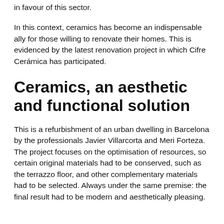in favour of this sector.
In this context, ceramics has become an indispensable ally for those willing to renovate their homes. This is evidenced by the latest renovation project in which Cifre Cerámica has participated.
Ceramics, an aesthetic and functional solution
This is a refurbishment of an urban dwelling in Barcelona by the professionals Javier Villarcorta and Meri Forteza. The project focuses on the optimisation of resources, so certain original materials had to be conserved, such as the terrazzo floor, and other complementary materials had to be selected. Always under the same premise: the final result had to be modern and aesthetically pleasing.